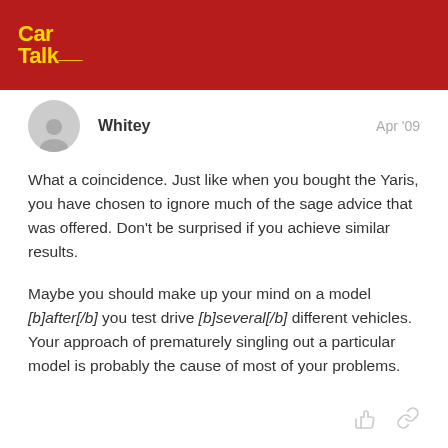Car Talk
Whitey · Apr '09

What a coincidence. Just like when you bought the Yaris, you have chosen to ignore much of the sage advice that was offered. Don't be surprised if you achieve similar results.

Maybe you should make up your mind on a model [b]after[/b] you test drive [b]several[/b] different vehicles. Your approach of prematurely singling out a particular model is probably the cause of most of your problems.